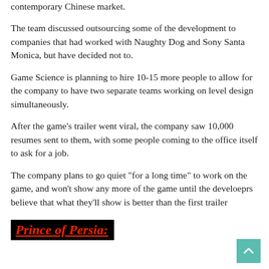contemporary Chinese market.
The team discussed outsourcing some of the development to companies that had worked with Naughty Dog and Sony Santa Monica, but have decided not to.
Game Science is planning to hire 10-15 more people to allow for the company to have two separate teams working on level design simultaneously.
After the game's trailer went viral, the company saw 10,000 resumes sent to them, with some people coming to the office itself to ask for a job.
The company plans to go quiet "for a long time" to work on the game, and won't show any more of the game until the develoeprs believe that what they'll show is better than the first trailer
Prince of Persia: